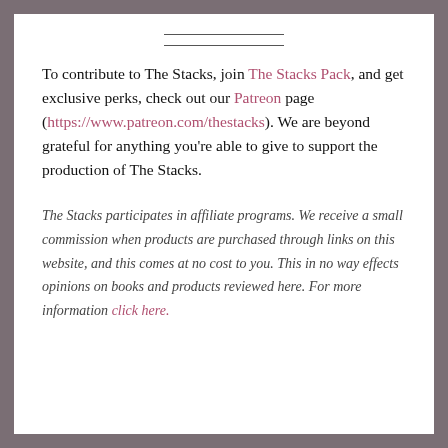To contribute to The Stacks, join The Stacks Pack, and get exclusive perks, check out our Patreon page (https://www.patreon.com/thestacks). We are beyond grateful for anything you're able to give to support the production of The Stacks.
The Stacks participates in affiliate programs. We receive a small commission when products are purchased through links on this website, and this comes at no cost to you. This in no way effects opinions on books and products reviewed here. For more information click here.